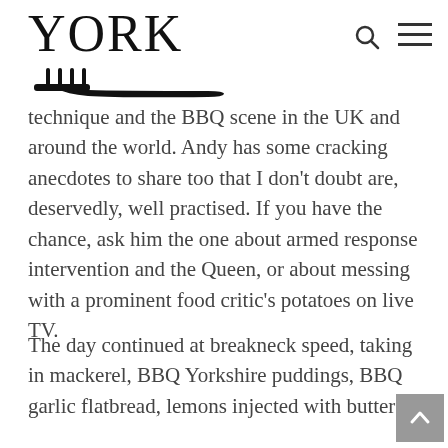YORK
technique and the BBQ scene in the UK and around the world. Andy has some cracking anecdotes to share too that I don't doubt are, deservedly, well practised. If you have the chance, ask him the one about armed response intervention and the Queen, or about messing with a prominent food critic's potatoes on live TV.
The day continued at breakneck speed, taking in mackerel, BBQ Yorkshire puddings, BBQ garlic flatbread, lemons injected with butter